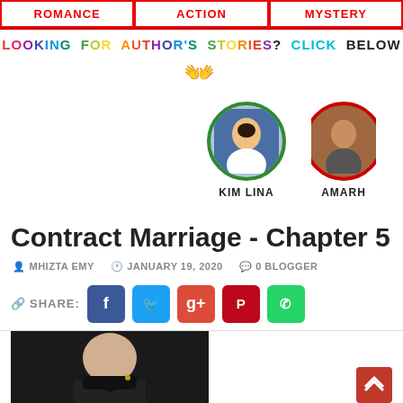ROMANCE
ACTION
MYSTERY
LOOKING FOR AUTHOR'S STORIES? CLICK BELOW
[Figure (illustration): Pointing hand icon]
[Figure (photo): Circular profile photo of KIM LINA with green border]
[Figure (photo): Circular profile photo of AMARH (partially visible) with red border]
Contract Marriage - Chapter 5
MHIZTA EMY   JANUARY 19, 2020   0 BLOGGER
SHARE:
[Figure (photo): Article header photo showing person in bow tie and earrings]